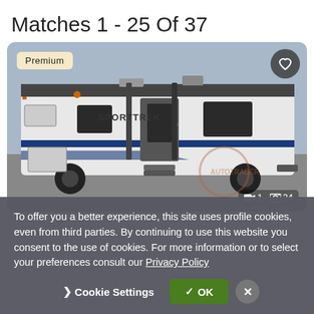Matches 1 - 25 Of 37
[Figure (photo): A white Sporttrek travel trailer/RV with blue accent stripes, shown from the side, with entry steps and exterior storage compartments visible. Labeled 'Premium'. Shows 1 video and 34 photos.]
To offer you a better experience, this site uses profile cookies, even from third parties. By continuing to use this website you consent to the use of cookies. For more information or to select your preferences consult our Privacy Policy
Cookie Settings  ✓ OK  ×